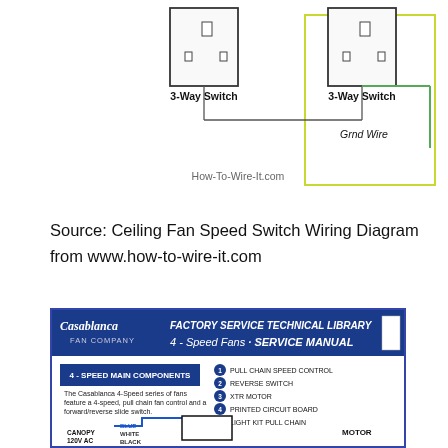[Figure (engineering-diagram): 3-way switch wiring diagram showing two 3-Way Switches connected to a Load circle, with wire labels: Grnd Wire, Blk Wire, Wht Wire, and watermark How-To-Wire-It.com]
Source: Ceiling Fan Speed Switch Wiring Diagram from www.how-to-wire-it.com
[Figure (engineering-diagram): Casablanca Fan Company Factory Service Technical Library - 4-Speed Fans Service Manual cover showing 4-Speed Main Components list: 1 Pull Chain Speed Control, 2 Reverse Switch, 3 XTR Motor, 4 Printed Circuit Board, 5 Light Kit Pull Chain. Text: The Casablanca 4-Speed series of fans feature a 4-speed, pull chain fan control and a forward/reverse slide switch. Wiring diagram showing Canopy 120V AC with Blue, White, Black wires and Motor label.]